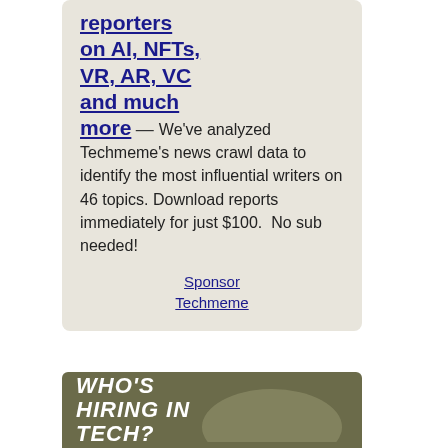reporters on AI, NFTs, VR, AR, VC and much more — We've analyzed Techmeme's news crawl data to identify the most influential writers on 46 topics. Download reports immediately for just $100.  No sub needed!
Sponsor Techmeme
[Figure (other): WHO'S HIRING IN TECH? banner with olive/tan background]
AWS: Be curious. Take risks. Learn a lot.